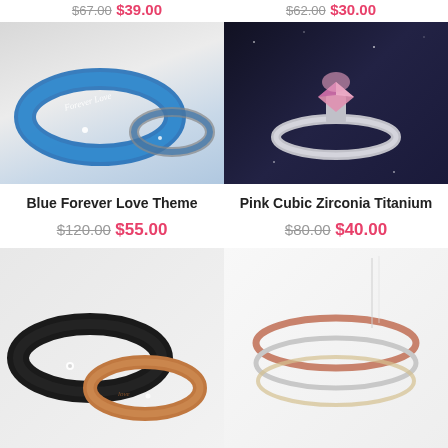$67.00  $39.00   $62.00  $30.00
[Figure (photo): Two blue stainless steel rings with 'Forever Love' engraving and small diamonds]
[Figure (photo): Single pink cubic zirconia titanium ring on dark sparkly background]
Blue Forever Love Theme
Pink Cubic Zirconia Titanium
$120.00  $55.00
$80.00  $40.00
[Figure (photo): Black and rose gold couple rings with small diamond accents]
[Figure (photo): Thin rose gold, silver, and yellow gold stacked rings]